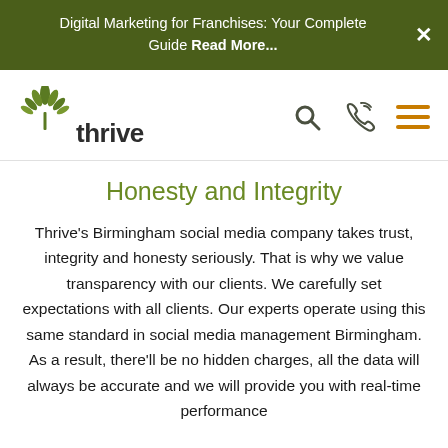Digital Marketing for Franchises: Your Complete Guide Read More...
[Figure (logo): Thrive agency logo with green leaf/plant icon above stylized 'thrive' wordmark]
Honesty and Integrity
Thrive's Birmingham social media company takes trust, integrity and honesty seriously. That is why we value transparency with our clients. We carefully set expectations with all clients. Our experts operate using this same standard in social media management Birmingham. As a result, there'll be no hidden charges, all the data will always be accurate and we will provide you with real-time performance